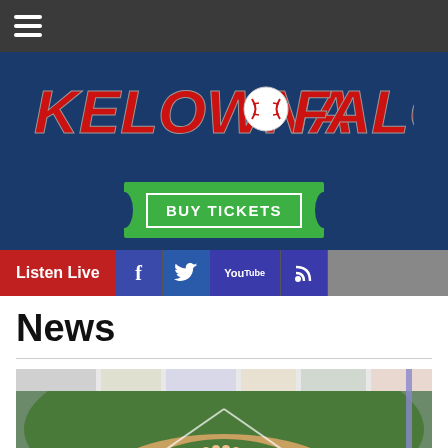Navigation menu hamburger icon
[Figure (logo): Kelowna Falcons baseball team logo with red text on navy background]
[Figure (infographic): Green Buy Tickets button with white border on navy background]
Listen Live | Facebook | Twitter | YouTube | RSS
News
[Figure (photo): Baseball team gathered on field at Kelowna Falcons stadium, with advertising billboards visible in the background]